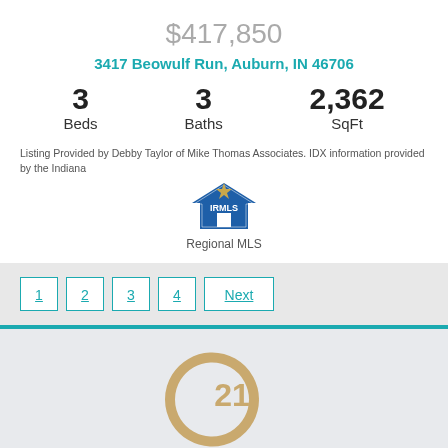$417,850
3417 Beowulf Run, Auburn, IN 46706
3 Beds   3 Baths   2,362 SqFt
Listing Provided by Debby Taylor of Mike Thomas Associates. IDX information provided by the Indiana
[Figure (logo): IRMLS Indiana Regional MLS logo]
Regional MLS
1 2 3 4 Next — pagination buttons
[Figure (logo): Century 21 logo with gold C arc and 21 numeral, CENTURY 21 text below]